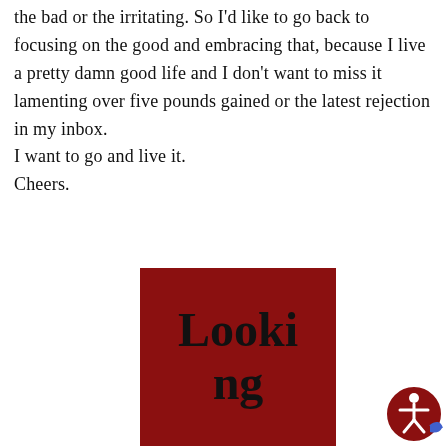the bad or the irritating. So I'd like to go back to focusing on the good and embracing that, because I live a pretty damn good life and I don't want to miss it lamenting over five pounds gained or the latest rejection in my inbox.
I want to go and live it.
Cheers.
[Figure (illustration): Red rectangle with bold text reading 'Looking' split as 'Looki' on first line and 'ng' on second line]